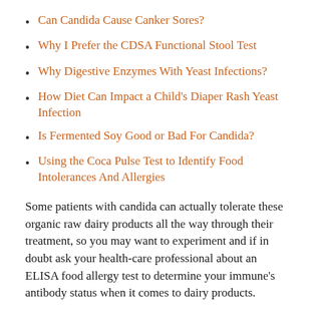Can Candida Cause Canker Sores?
Why I Prefer the CDSA Functional Stool Test
Why Digestive Enzymes With Yeast Infections?
How Diet Can Impact a Child's Diaper Rash Yeast Infection
Is Fermented Soy Good or Bad For Candida?
Using the Coca Pulse Test to Identify Food Intolerances And Allergies
Some patients with candida can actually tolerate these organic raw dairy products all the way through their treatment, so you may want to experiment and if in doubt ask your health-care professional about an ELISA food allergy test to determine your immune's antibody status when it comes to dairy products.